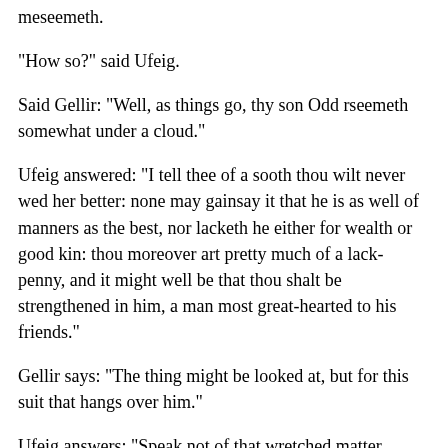meseemeth.
"How so?" said Ufeig.
Said Gellir: "Well, as things go, thy son Odd rseemeth somewhat under a cloud."
Ufeig answered: "I tell thee of a sooth thou wilt never wed her better: none may gainsay it that he is as well of manners as the best, nor lacketh he either for wealth or good kin: thou moreover art pretty much of a lack-penny, and it might well be that thou shalt be strengthened in him, a man most great-hearted to his friends."
Gellir says: "The thing might be looked at, but for this suit that hangs over him."
Ufeig answers: "Speak not of that wretched matter, which is for nought but the shame and disgrace of all such as have meddled therein."
Gellir answers: "None the less it is to be looked for that it will go otherwise; so I will not assent to the match, though if the suit might be set aside, I am as full fair in the matter."